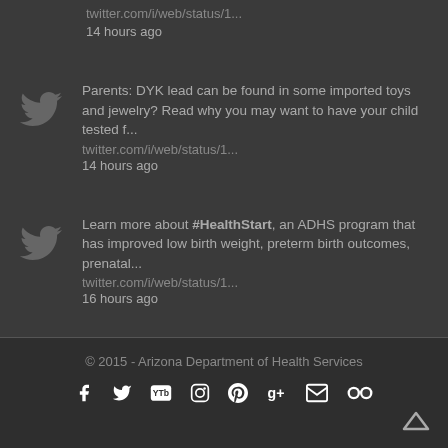twitter.com/i/web/status/1...
14 hours ago
Parents: DYK lead can be found in some imported toys and jewelry? Read why you may want to have your child tested f... twitter.com/i/web/status/1... 14 hours ago
Learn more about #HealthStart, an ADHS program that has improved low birth weight, preterm birth outcomes, prenatal... twitter.com/i/web/status/1... 16 hours ago
© 2015 - Arizona Department of Health Services